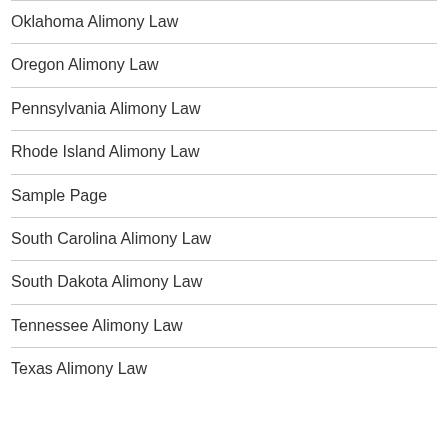Oklahoma Alimony Law
Oregon Alimony Law
Pennsylvania Alimony Law
Rhode Island Alimony Law
Sample Page
South Carolina Alimony Law
South Dakota Alimony Law
Tennessee Alimony Law
Texas Alimony Law